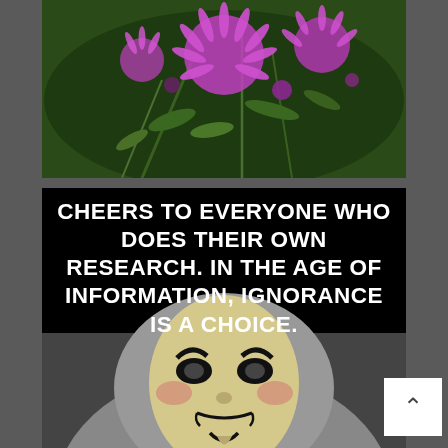[Figure (photo): Close-up photograph of bright pink/purple wildflowers (likely blazing star or ironweed) with green foliage in the background]
[Figure (photo): Meme image with black background and white bold text reading 'CHEERS TO EVERYONE WHO DOES THEIR OWN RESEARCH. IN THE AGE OF INFORMATION, IGNORANCE IS A CHOICE.' Below the text is a photo of a person wearing a Guy Fawkes mask and grey hoodie]